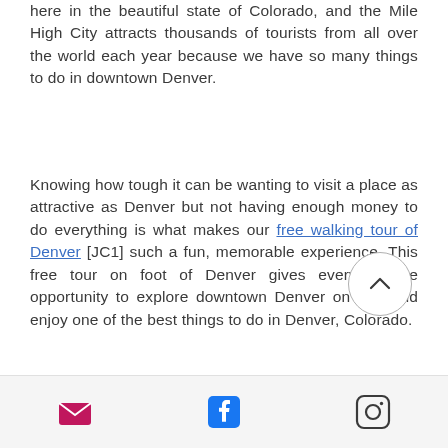here in the beautiful state of Colorado, and the Mile High City attracts thousands of tourists from all over the world each year because we have so many things to do in downtown Denver.
Knowing how tough it can be wanting to visit a place as attractive as Denver but not having enough money to do everything is what makes our free walking tour of Denver [JC1] such a fun, memorable experience. This free tour on foot of Denver gives everyone the opportunity to explore downtown Denver on foot and enjoy one of the best things to do in Denver, Colorado.
But don't stop there, red on for the top 10
[Figure (other): Scroll-to-top circular button with upward chevron arrow]
[Figure (other): Footer bar with email (envelope), Facebook, and Instagram icons]